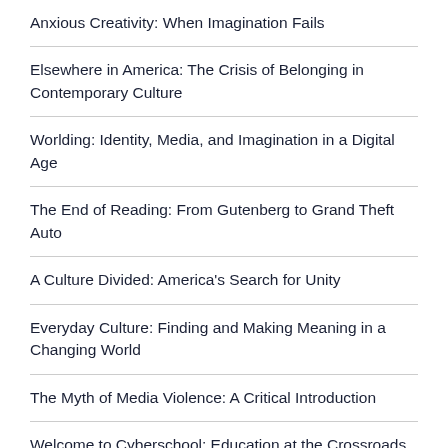Anxious Creativity: When Imagination Fails
Elsewhere in America: The Crisis of Belonging in Contemporary Culture
Worlding: Identity, Media, and Imagination in a Digital Age
The End of Reading: From Gutenberg to Grand Theft Auto
A Culture Divided: America's Search for Unity
Everyday Culture: Finding and Making Meaning in a Changing World
The Myth of Media Violence: A Critical Introduction
Welcome to Cyberschool: Education at the Crossroads in the Information Age